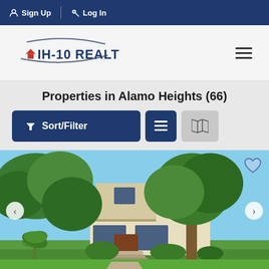Sign Up | Log In
[Figure (logo): IH-10 Realty logo with swoosh graphic and house icon]
Properties in Alamo Heights (66)
Sort/Filter | List view | Map view buttons
[Figure (photo): Exterior photo of a two-story residential home with large trees, green lawn, steps leading to front door with wood entry, white stucco exterior, lush landscaping]